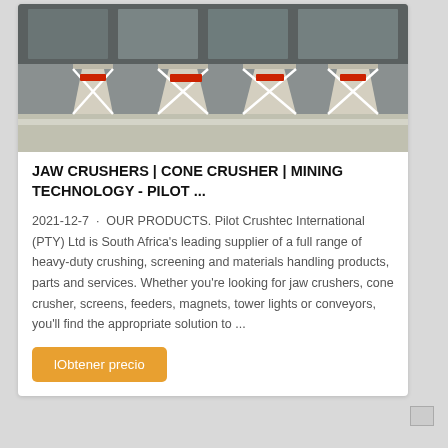[Figure (photo): Industrial mining silos/crushers with white X-frame supports and red labels, taken outdoors in front of a building with large windows.]
JAW CRUSHERS | CONE CRUSHER | MINING TECHNOLOGY - PILOT ...
2021-12-7 · OUR PRODUCTS. Pilot Crushtec International (PTY) Ltd is South Africa's leading supplier of a full range of heavy-duty crushing, screening and materials handling products, parts and services. Whether you're looking for jaw crushers, cone crusher, screens, feeders, magnets, tower lights or conveyors, you'll find the appropriate solution to ...
lObtener precio